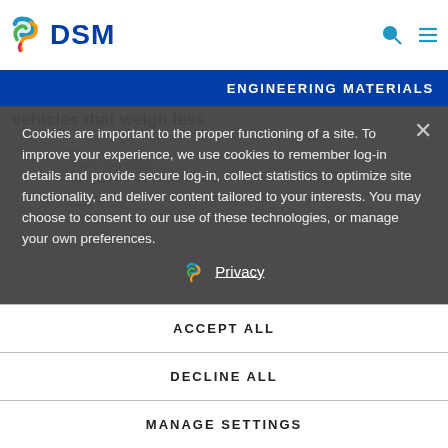DSM - ENGINEERING MATERIALS
vehicles that weigh less.
[Figure (screenshot): DSM infographic thumbnail: 'What if cars had no engineering plastics?' with bullet points listing facts about plastics in cars.]
Cookies are important to the proper functioning of a site. To improve your experience, we use cookies to remember log-in details and provide secure log-in, collect statistics to optimize site functionality, and deliver content tailored to your interests. You may choose to consent to our use of these technologies, or manage your own preferences.
Privacy
ACCEPT ALL
DECLINE ALL
MANAGE SETTINGS
tonnes. By weight, modern cars are composed of 10 to